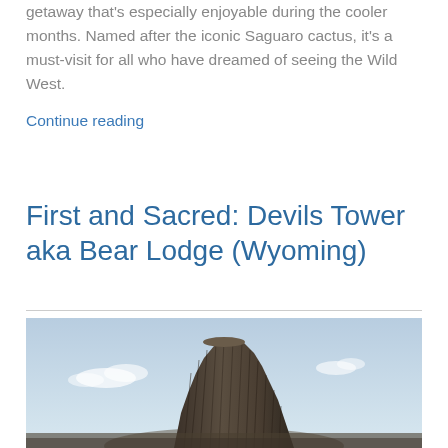getaway that's especially enjoyable during the cooler months. Named after the iconic Saguaro cactus, it's a must-visit for all who have dreamed of seeing the Wild West.
Continue reading
First and Sacred: Devils Tower aka Bear Lodge (Wyoming)
[Figure (photo): Photograph of Devils Tower (Bear Lodge) rock formation against a light blue sky with small clouds. The tower is a dark brownish-gray columnar basalt butte rising prominently, photographed from below.]